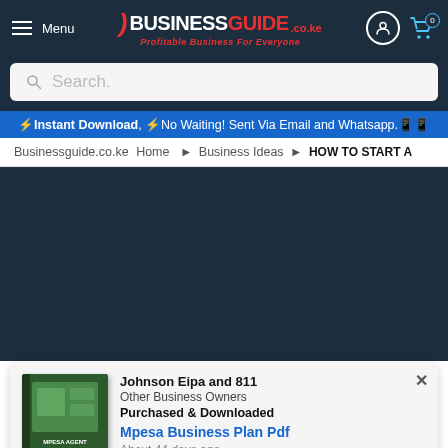Menu | BUSINESSGUIDE Profitable Business For Everyone .co.ke
Search.
⚡Instant Download, ⚡No Waiting! Sent Via Email and Whatsapp.📱📱
Businessguide.co.ke Home › Business Ideas › HOW TO START A
[Figure (screenshot): Dark background area (navigation/content loading area)]
Johnson Eipa and 811 Other Business Owners Purchased & Downloaded Mpesa Business Plan Pdf About 44 days ago